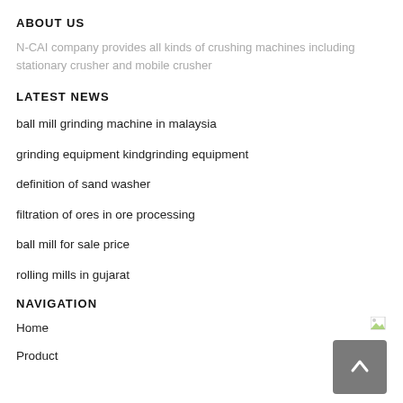ABOUT US
N-CAI company provides all kinds of crushing machines including stationary crusher and mobile crusher
LATEST NEWS
ball mill grinding machine in malaysia
grinding equipment kindgrinding equipment
definition of sand washer
filtration of ores in ore processing
ball mill for sale price
rolling mills in gujarat
NAVIGATION
Home
Product